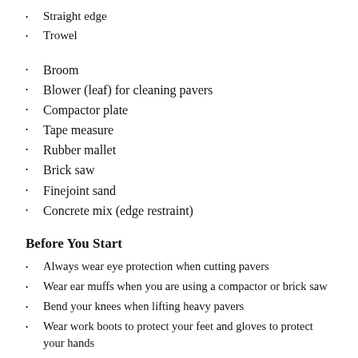Straight edge
Trowel
Broom
Blower (leaf) for cleaning pavers
Compactor plate
Tape measure
Rubber mallet
Brick saw
Finejoint sand
Concrete mix (edge restraint)
Before You Start
Always wear eye protection when cutting pavers
Wear ear muffs when you are using a compactor or brick saw
Bend your knees when lifting heavy pavers
Wear work boots to protect your feet and gloves to protect your hands